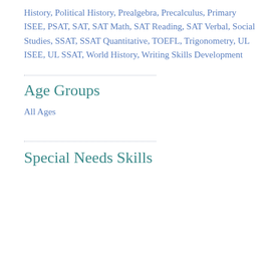History, Political History, Prealgebra, Precalculus, Primary ISEE, PSAT, SAT, SAT Math, SAT Reading, SAT Verbal, Social Studies, SSAT, SSAT Quantitative, TOEFL, Trigonometry, UL ISEE, UL SSAT, World History, Writing Skills Development
Age Groups
All Ages
Special Needs Skills